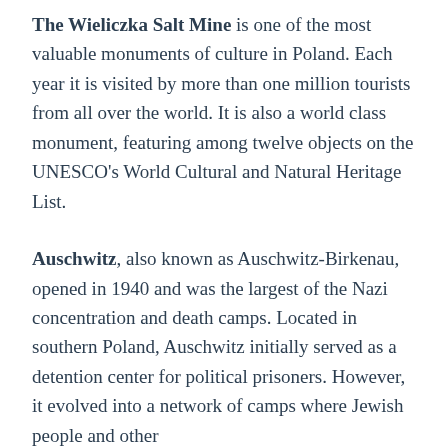The Wieliczka Salt Mine is one of the most valuable monuments of culture in Poland. Each year it is visited by more than one million tourists from all over the world. It is also a world class monument, featuring among twelve objects on the UNESCO's World Cultural and Natural Heritage List.
Auschwitz, also known as Auschwitz-Birkenau, opened in 1940 and was the largest of the Nazi concentration and death camps. Located in southern Poland, Auschwitz initially served as a detention center for political prisoners. However, it evolved into a network of camps where Jewish people and other